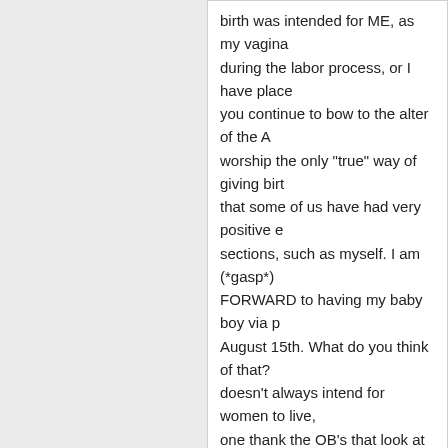birth was intended for ME, as my vagina during the labor process, or I have place you continue to bow to the alter of the A worship the only "true" way of giving birt that some of us have had very positive e sections, such as myself. I am (*gasp*) FORWARD to having my baby boy via p August 15th. What do you think of that? doesn't always intend for women to live, one thank the OB's that look at our preg individual basis, and tailor our births to s treat us like a walking birth canal each ti
[Figure (illustration): Grey placeholder avatar image of a person silhouette in a square box with a rightward pointing arrow]
Beth S

I honestly don't care if you give birth in a Hospital, your living room, or in the midd bugs crawling all around you. As long as information in order make a truly informe Encouraging women to attempt an unas dangerous, and any legitimate health ca charged with at the very least an ethic...